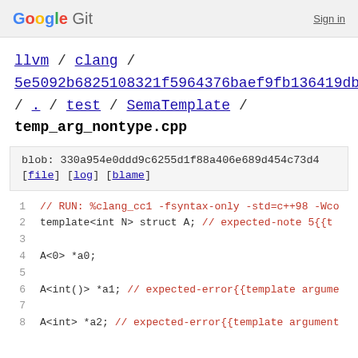Google Git  Sign in
llvm / clang / 5e5092b6825108321f5964376baef9fb136419db / . / test / SemaTemplate /
temp_arg_nontype.cpp
blob: 330a954e0ddd9c6255d1f88a406e689d454c73d4
[file] [log] [blame]
1  // RUN: %clang_cc1 -fsyntax-only -std=c++98 -Wco
2  template<int N> struct A; // expected-note 5{{t
3
4  A<0> *a0;
5
6  A<int()> *a1; // expected-error{{template argume
7
8  A<int> *a2; // expected-error{{template argument